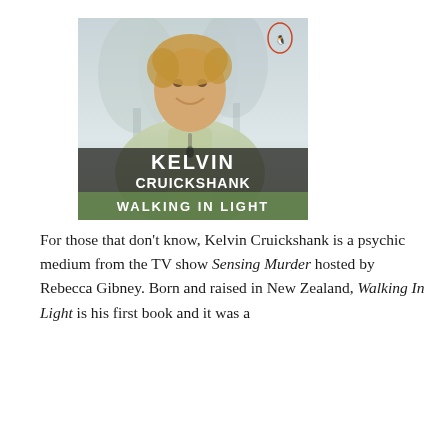[Figure (illustration): Book cover of 'Walking In Light' by Kelvin Cruickshank. Shows a smiling man with blonde hair wearing a light green shirt, against a misty tree background. Text at bottom reads 'KELVIN CRUICKSHANK' in large white letters and 'WALKING IN LIGHT' on a green banner. Penguin Books logo in top right corner.]
For those that don't know, Kelvin Cruickshank is a psychic medium from the TV show Sensing Murder hosted by Rebecca Gibney. Born and raised in New Zealand, Walking In Light is his first book and it was a